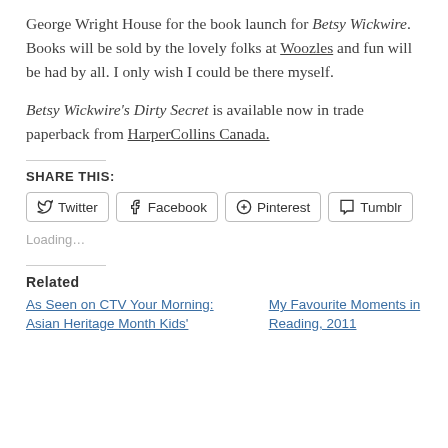George Wright House for the book launch for Betsy Wickwire. Books will be sold by the lovely folks at Woozles and fun will be had by all. I only wish I could be there myself.
Betsy Wickwire's Dirty Secret is available now in trade paperback from HarperCollins Canada.
Share this:
Loading...
Related
As Seen on CTV Your Morning: Asian Heritage Month Kids'
My Favourite Moments in Reading, 2011